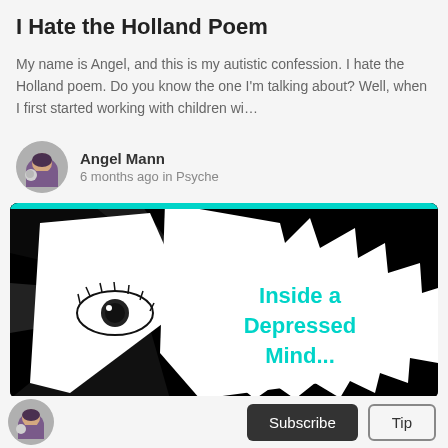I Hate the Holland Poem
My name is Angel, and this is my autistic confession. I hate the Holland poem. Do you know the one I'm talking about? Well, when I first started working with children wi…
Angel Mann
6 months ago in Psyche
[Figure (screenshot): Thumbnail image with black background showing a stylized graphic of a face with an eye visible, and a jagged speech-bubble shape containing the text 'Inside a Depressed Mind...' in teal/cyan bold text on white background. A teal bar runs along the top of the image.]
Subscribe  Tip